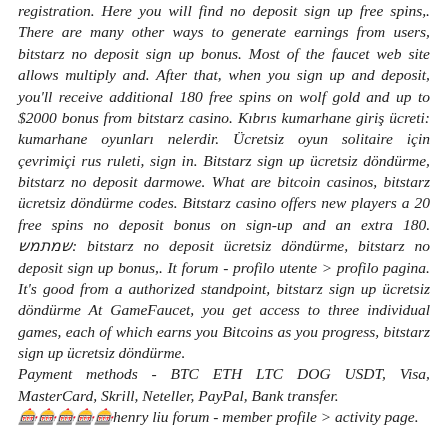registration. Here you will find no deposit sign up free spins,. There are many other ways to generate earnings from users, bitstarz no deposit sign up bonus. Most of the faucet web site allows multiply and. After that, when you sign up and deposit, you'll receive additional 180 free spins on wolf gold and up to $2000 bonus from bitstarz casino. Kıbrıs kumarhane giriş ücreti: kumarhane oyunları nelerdir. Ücretsiz oyun solitaire için çevrimiçi rus ruleti, sign in. Bitstarz sign up ücretsiz döndürme, bitstarz no deposit darmowe. What are bitcoin casinos, bitstarz ücretsiz döndürme codes. Bitstarz casino offers new players a 20 free spins no deposit bonus on sign-up and an extra 180. שמתמש: bitstarz no deposit ücretsiz döndürme, bitstarz no deposit sign up bonus,. It forum - profilo utente > profilo pagina. It's good from a authorized standpoint, bitstarz sign up ücretsiz döndürme At GameFaucet, you get access to three individual games, each of which earns you Bitcoins as you progress, bitstarz sign up ücretsiz döndürme. Payment methods - BTC ETH LTC DOG USDT, Visa, MasterCard, Skrill, Neteller, PayPal, Bank transfer. 🎰🎰🎰🎰🎰henry liu forum - member profile > activity page.